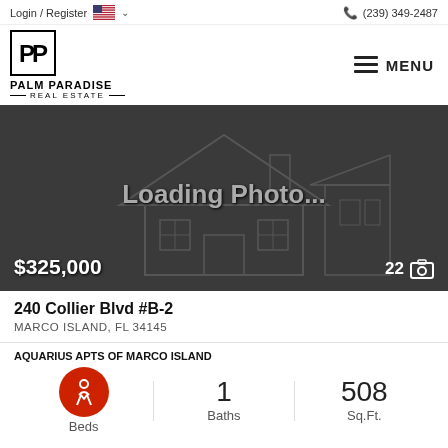Login / Register   (239) 349-2487
[Figure (logo): Palm Paradise Real Estate logo with P and P letters in a square border, company name below]
[Figure (photo): Dark placeholder image showing a wireframe house outline with text 'Loading Photo...' Price tag $325,000 and photo count 22]
240 Collier Blvd #B-2
MARCO ISLAND, FL 34145
AQUARIUS APTS OF MARCO ISLAND
1 Beds   1 Baths   508 Sq.Ft.